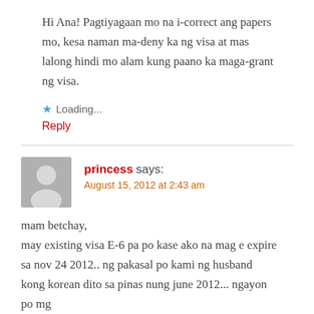Hi Ana! Pagtiyagaan mo na i-correct ang papers mo, kesa naman ma-deny ka ng visa at mas lalong hindi mo alam kung paano ka maga-grant ng visa.
★ Loading...
Reply
princess says:
August 15, 2012 at 2:43 am
mam betchay,
may existing visa E-6 pa po kase ako na mag e expire sa nov 24 2012.. ng pakasal po kami ng husband kong korean dito sa pinas nung june 2012... ngayon po mg